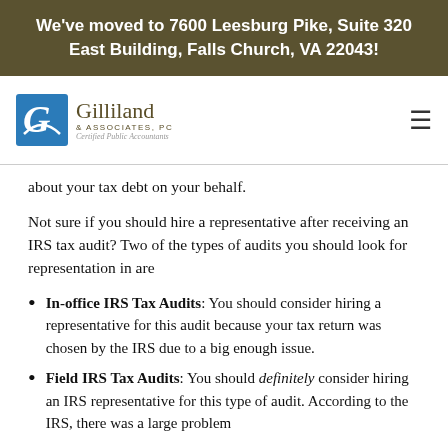We've moved to 7600 Leesburg Pike, Suite 320 East Building, Falls Church, VA 22043!
[Figure (logo): Gilliland & Associates, PC Certified Public Accountants logo with blue stylized G icon]
about your tax debt on your behalf.
Not sure if you should hire a representative after receiving an IRS tax audit? Two of the types of audits you should look for representation in are
In-office IRS Tax Audits: You should consider hiring a representative for this audit because your tax return was chosen by the IRS due to a big enough issue.
Field IRS Tax Audits: You should definitely consider hiring an IRS representative for this type of audit. According to the IRS, there was a large problem